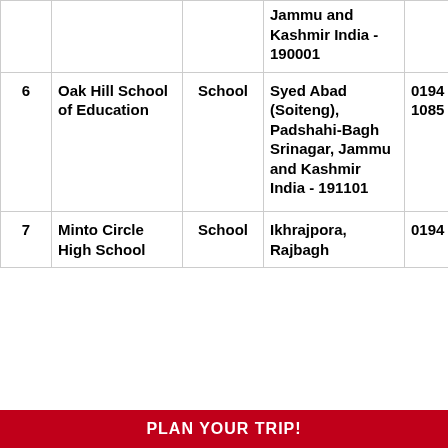| # | Name | Type | Address | Phone | Hours |
| --- | --- | --- | --- | --- | --- |
|  |  |  | Jammu and Kashmir India - 190001 |  |  |
| 6 | Oak Hill School of Education | School | Syed Abad (Soiteng), Padshahi-Bagh Srinagar, Jammu and Kashmir India - 191101 | 0194 214 1085 | 10:00 AM - 4:00 PM |
| 7 | Minto Circle High School | School | Ikhrajpora, Rajbagh... | 0194 231... | 10:00 AM... |
PLAN YOUR TRIP!